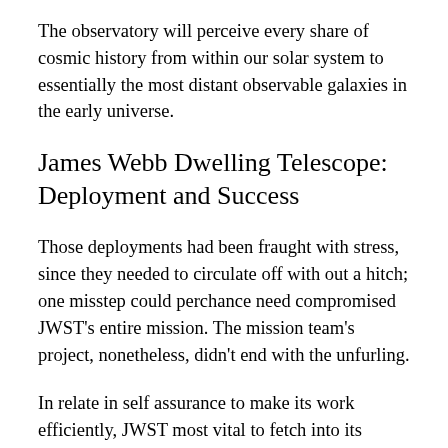The observatory will perceive every share of cosmic history from within our solar system to essentially the most distant observable galaxies in the early universe.
James Webb Dwelling Telescope: Deployment and Success
Those deployments had been fraught with stress, since they needed to circulate off with out a hitch; one misstep could perchance need compromised JWST's entire mission. The mission team's project, nonetheless, didn't end with the unfurling.
In relate in self assurance to make its work efficiently, JWST most vital to fetch into its closing place in orbit. If the observatory didn't slack down exactly accurately today time, the spacecraft could perchance moreover cease up in the unsuitable orbit or altogether omit its goal route. A failure of this magnitude could perchance